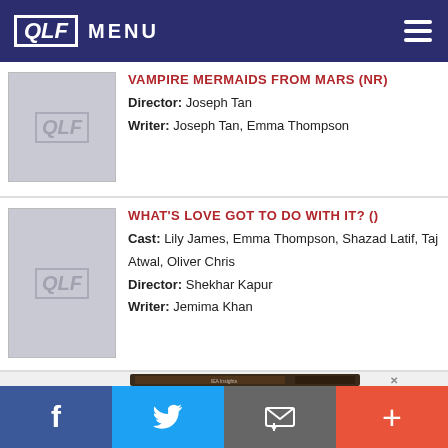QLF MENU
VAMPIRE MERMAIDS FROM MARS (NR)
Director: Joseph Tan
Writer: Joseph Tan, Emma Thompson
WHAT'S LOVE GOT TO DO WITH IT? ()
Cast: Lily James, Emma Thompson, Shazad Latif, Taj Atwal, Oliver Chris
Director: Shekhar Kapur
Writer: Jemima Khan
[Figure (screenshot): Advertisement showing a website (IEA Insights) displayed on a laptop and tablet screen]
f  Twitter  Email  +